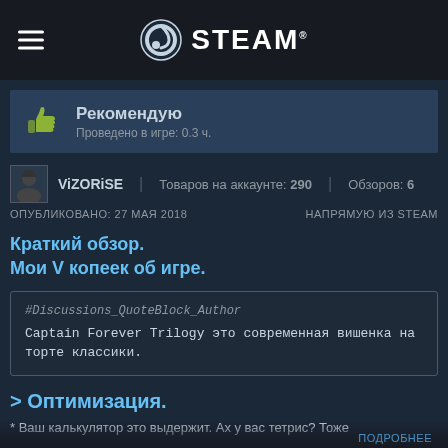STEAM
Рекомендую
Проведено в игре: 0.3 ч.
ViZORiSE | Товаров на аккаунте: 290 | Обзоров: 6
ОПУБЛИКОВАНО: 27 МАЯ 2018    НАПРЯМУЮ ИЗ STEAM
Краткий обзор.
Мои V копеек об игре.
#Discussions_QuoteBlock_Author
Captain Forever Trilogy это современная вишенка на торте классики.
> Оптимизация.
* Ваш калькулятор это выдержит. Ах у вас тетрис? Тоже
ПОДРОБНЕЕ